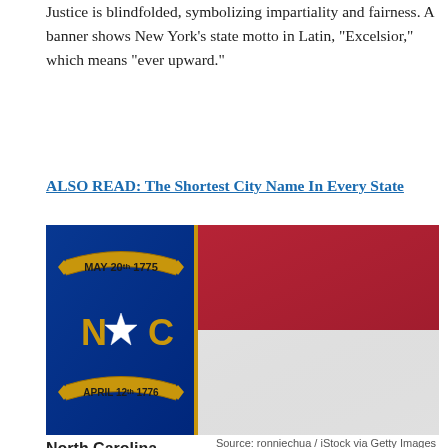Justice is blindfolded, symbolizing impartiality and fairness. A banner shows New York’s state motto in Latin, “Excelsior,” which means “ever upward.”
ALSO READ: The Shortest City Name In Every State
[Figure (photo): North Carolina state flag showing blue union with gold banners reading MAY 20th 1775 and APRIL 12th 1776, white star in center with letters N and C, and red and white horizontal stripes on the right side.]
Source: ronniechua / iStock via Getty Images
North Carolina
> Flag design: A blue union, with white star in the middle, an